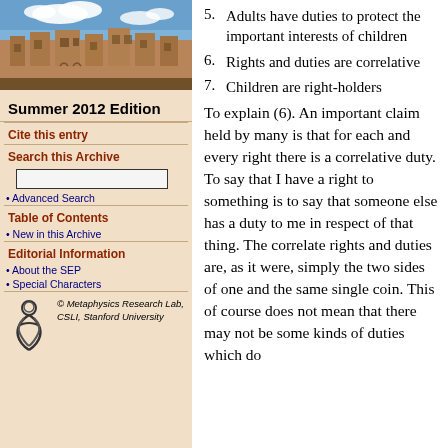[Figure (photo): Photograph of a university building (stone architecture) against a blue sky]
Summer 2012 Edition
Cite this entry
Search this Archive
Advanced Search
Table of Contents
New in this Archive
Editorial Information
About the SEP
Special Characters
[Figure (logo): Metaphysics Research Lab logo — stylized figure]
© Metaphysics Research Lab, CSLI, Stanford University
5. Adults have duties to protect the important interests of children
6. Rights and duties are correlative
7. Children are right-holders
To explain (6). An important claim held by many is that for each and every right there is a correlative duty. To say that I have a right to something is to say that someone else has a duty to me in respect of that thing. The correlate rights and duties are, as it were, simply the two sides of one and the same single coin. This of course does not mean that there may not be some kinds of duties which do